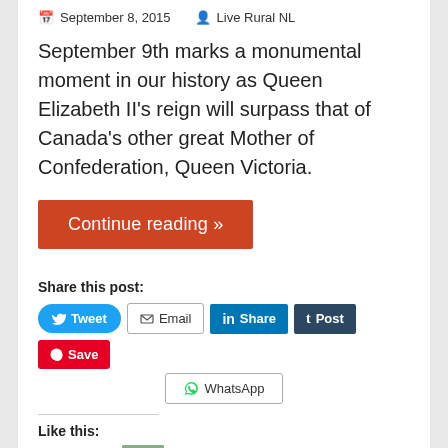September 8, 2015   Live Rural NL
September 9th marks a monumental moment in our history as Queen Elizabeth II's reign will surpass that of Canada's other great Mother of Confederation, Queen Victoria.
Continue reading »
Share this post:
Tweet  Email  Share  Post  Save  WhatsApp
Like this:
Like
One blogger likes this.